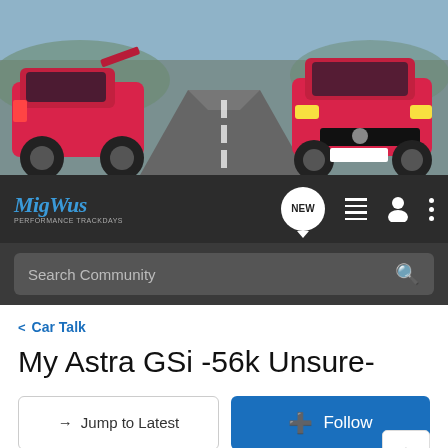[Figure (photo): Hero banner showing two red Vauxhall/Opel cars on a road — one hatchback seen from the rear-left, one seen from the front-right. Background shows a road curving into the distance with a mountainous landscape.]
[Figure (logo): MigWus.co.uk logo in blue italic script with subtitle 'PERFORMANCE TRACKDAYS']
Search Community
< Car Talk
My Astra GSi -56k Unsure-
→ Jump to Latest
+ Follow
1 - 20 of 79 Posts
1 of 4
Darryn · Registered